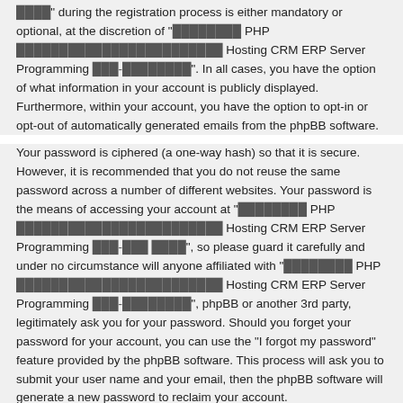during the registration process is either mandatory or optional, at the discretion of "สอนเขียน PHP ภาษาไทยออนไลน์ฟรี Hosting CRM ERP Server Programming มือ-อาชีพ". In all cases, you have the option of what information in your account is publicly displayed. Furthermore, within your account, you have the option to opt-in or opt-out of automatically generated emails from the phpBB software.
Your password is ciphered (a one-way hash) so that it is secure. However, it is recommended that you do not reuse the same password across a number of different websites. Your password is the means of accessing your account at "สอนเขียน PHP ภาษาไทยออนไลน์ฟรี Hosting CRM ERP Server Programming มือ-อาชีพ", so please guard it carefully and under no circumstance will anyone affiliated with "สอนเขียน PHP ภาษาไทยออนไลน์ฟรี Hosting CRM ERP Server Programming มือ-อาชีพ", phpBB or another 3rd party, legitimately ask you for your password. Should you forget your password for your account, you can use the "I forgot my password" feature provided by the phpBB software. This process will ask you to submit your user name and your email, then the phpBB software will generate a new password to reclaim your account.
MindPHP · Forum | social icons | Like: email icons
Powered by phpBB® Forum Software © phpBB Limited
Thai language by Mindphp.com & phpBBThailand.com
Privacy | Terms
Time: 0.065s | Peak Memory Usage: 1.71 MiB | GZIP: Off | Load: 7.83